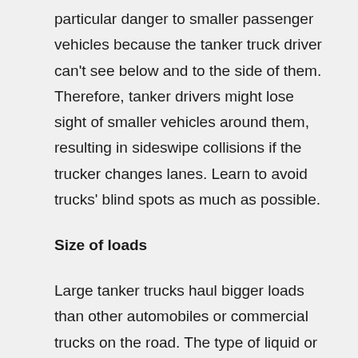particular danger to smaller passenger vehicles because the tanker truck driver can't see below and to the side of them. Therefore, tanker drivers might lose sight of smaller vehicles around them, resulting in sideswipe collisions if the trucker changes lanes. Learn to avoid trucks' blind spots as much as possible.
Size of loads
Large tanker trucks haul bigger loads than other automobiles or commercial trucks on the road. The type of liquid or gas the tanker truck is hauling can often present additional hazards to the mere size